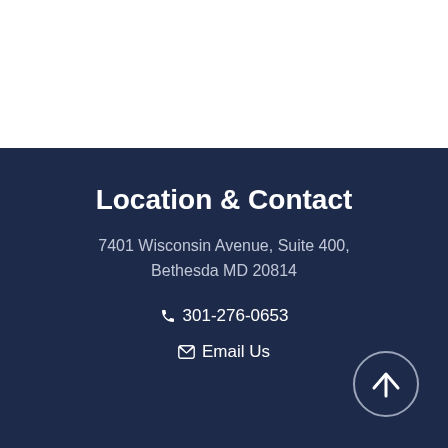Location & Contact
7401 Wisconsin Avenue, Suite 400, Bethesda MD 20814
301-276-0653
Email Us
[Figure (other): Circle button with upward arrow icon for back to top navigation]